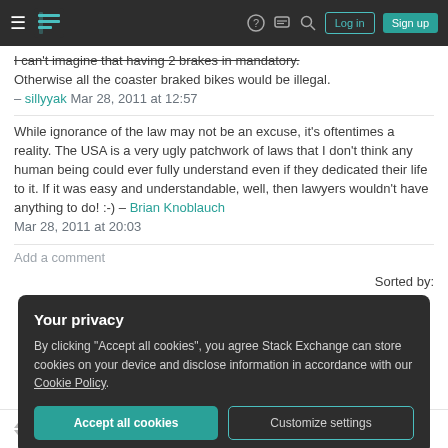Stack Exchange navigation bar with hamburger menu, logo, help, chat, search icons, Log in and Sign up buttons
I can't imagine that having 2 brakes in mandatory. Otherwise all the coaster braked bikes would be illegal. – sillyyak Mar 28, 2011 at 12:57
While ignorance of the law may not be an excuse, it's oftentimes a reality. The USA is a very ugly patchwork of laws that I don't think any human being could ever fully understand even if they dedicated their life to it. If it was easy and understandable, well, then lawyers wouldn't have anything to do! :-) – Brian Knoblauch Mar 28, 2011 at 20:03
Add a comment
Sorted by:
Your privacy
By clicking "Accept all cookies", you agree Stack Exchange can store cookies on your device and disclose information in accordance with our Cookie Policy.
Accept all cookies  Customize settings
12-706. Brake required. Every bicycle shall